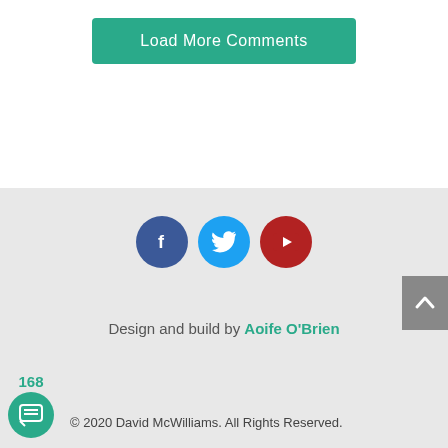Load More Comments
[Figure (other): Social media icons: Facebook (blue circle with f), Twitter (light blue circle with bird), YouTube (dark red circle with play button)]
[Figure (other): Back to top button: grey rectangle with upward caret arrow]
Design and build by Aoife O'Brien
168
[Figure (other): Teal chat/comment circle icon]
© 2020 David McWilliams. All Rights Reserved.